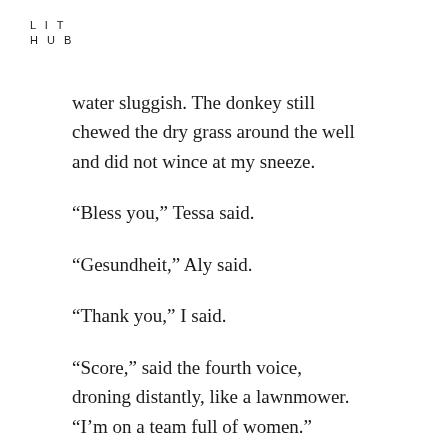L I T
H U B
water sluggish. The donkey still chewed the dry grass around the well and did not wince at my sneeze.

“Bless you,” Tessa said.

“Gesundheit,” Aly said.

“Thank you,” I said.

“Score,” said the fourth voice, droning distantly, like a lawnmower. “I’m on a team full of women.”

“Six o’clock,” Tessa said. “It looks like